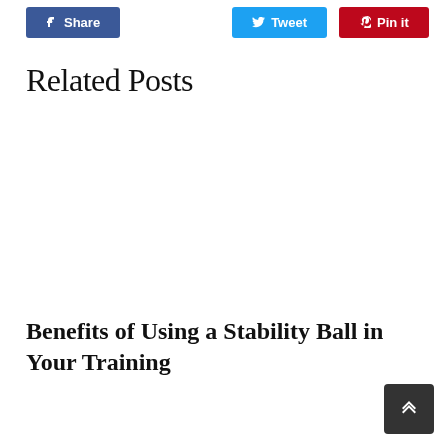[Figure (screenshot): Social share buttons: Facebook Share (blue), Tweet (light blue), Pin it (red)]
Related Posts
Benefits of Using a Stability Ball in Your Training
[Figure (other): Back to top button with upward chevron arrow on dark background]